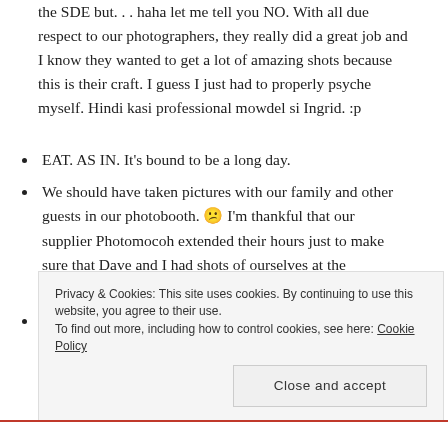the SDE but... haha let me tell you NO. With all due respect to our photographers, they really did a great job and I know they wanted to get a lot of amazing shots because this is their craft. I guess I just had to properly psyche myself. Hindi kasi professional mowdel si Ingrid. :p
EAT. AS IN. It's bound to be a long day.
We should have taken pictures with our family and other guests in our photobooth. 😕 I'm thankful that our supplier Photomocoh extended their hours just to make sure that Dave and I had shots of ourselves at the photobooth. That was very nice of them.
Even if you think you've planned everything, you have to
Privacy & Cookies: This site uses cookies. By continuing to use this website, you agree to their use.
To find out more, including how to control cookies, see here: Cookie Policy
Close and accept